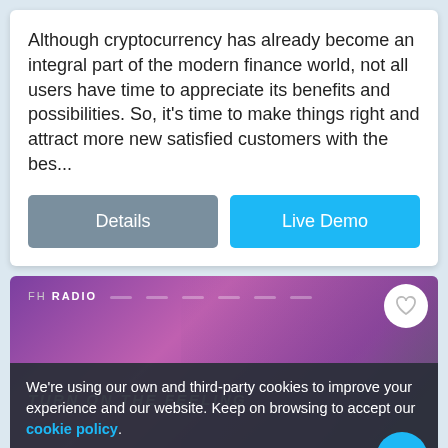Although cryptocurrency has already become an integral part of the modern finance world, not all users have time to appreciate its benefits and possibilities. So, it's time to make things right and attract more new satisfied customers with the bes...
[Figure (screenshot): Two buttons: 'Details' (grey) and 'Live Demo' (blue)]
[Figure (screenshot): FH Radio website screenshot with purple/pink gradient background showing a woman with headphones and text 'TURN ON THE FEELING']
We're using our own and third-party cookies to improve your experience and our website. Keep on browsing to accept our cookie policy.
[Figure (screenshot): Accept button for cookie policy]